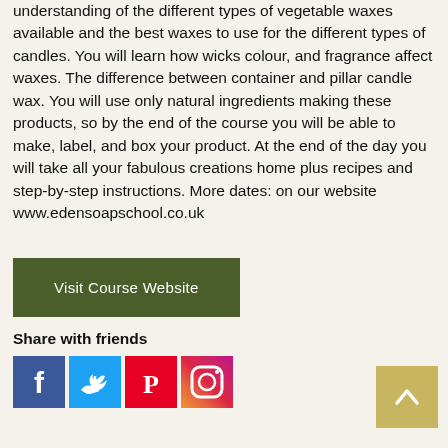understanding of the different types of vegetable waxes available and the best waxes to use for the different types of candles. You will learn how wicks colour, and fragrance affect waxes. The difference between container and pillar candle wax. You will use only natural ingredients making these products, so by the end of the course you will be able to make, label, and box your product. At the end of the day you will take all your fabulous creations home plus recipes and step-by-step instructions. More dates: on our website www.edensoapschool.co.uk
Visit Course Website
Share with friends
[Figure (other): Social media icons: Facebook, Twitter, Pinterest, Instagram]
[Figure (other): Back to top button with upward arrow]